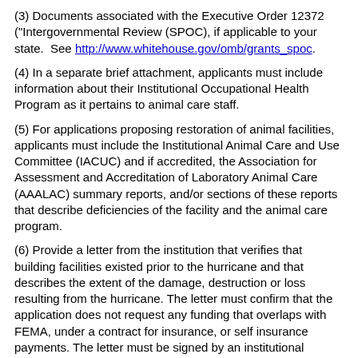(3) Documents associated with the Executive Order 12372 ("Intergovernmental Review (SPOC), if applicable to your state.  See http://www.whitehouse.gov/omb/grants_spoc.
(4) In a separate brief attachment, applicants must include information about their Institutional Occupational Health Program as it pertains to animal care staff.
(5) For applications proposing restoration of animal facilities, applicants must include the Institutional Animal Care and Use Committee (IACUC) and if accredited, the Association for Assessment and Accreditation of Laboratory Animal Care (AAALAC) summary reports, and/or sections of these reports that describe deficiencies of the facility and the animal care program.
(6) Provide a letter from the institution that verifies that building facilities existed prior to the hurricane and that describes the extent of the damage, destruction or loss resulting from the hurricane. The letter must confirm that the application does not request any funding that overlaps with FEMA, under a contract for insurance, or self insurance payments. The letter must be signed by an institutional Signing Official.
(7) Three letters of support for research activity may be